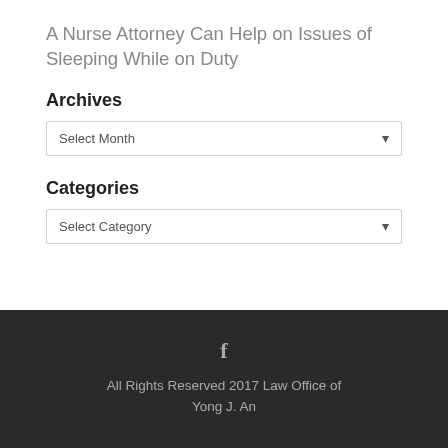A Nurse Attorney Can Help on Issues of Sleeping While on Duty
Archives
Select Month
Categories
Select Category
f
All Rights Reserved 2017 Law Office of Yong J. An